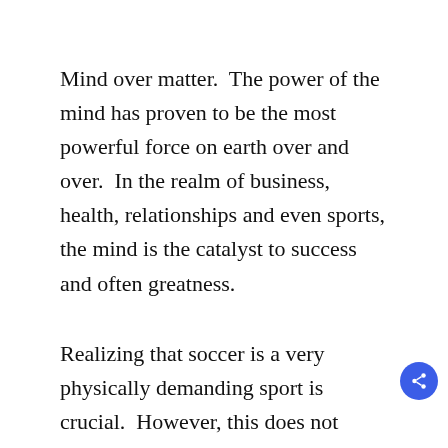Mind over matter.  The power of the mind has proven to be the most powerful force on earth over and over.  In the realm of business, health, relationships and even sports, the mind is the catalyst to success and often greatness.
Realizing that soccer is a very physically demanding sport is crucial.  However, this does not suggest the physical aspect of soccer is the dominating characteristic of soccer.  Being in shape, fast and strong